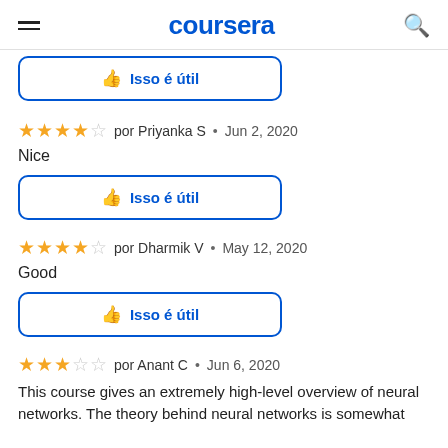coursera
[Figure (screenshot): Partial 'Isso é útil' (This is helpful) button at top, cut off]
por Priyanka S • Jun 2, 2020
Nice
[Figure (screenshot): Isso é útil button for Priyanka S review]
por Dharmik V • May 12, 2020
Good
[Figure (screenshot): Isso é útil button for Dharmik V review]
por Anant C • Jun 6, 2020
This course gives an extremely high-level overview of neural networks. The theory behind neural networks is somewhat